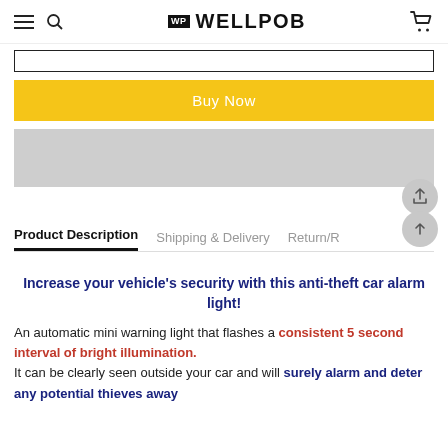WP WELLPOB
[Figure (screenshot): Input field outline bar]
Buy Now
[Figure (photo): Gray image placeholder / product image loading]
Product Description | Shipping & Delivery | Return/R
Increase your vehicle's security with this anti-theft car alarm light!
An automatic mini warning light that flashes a consistent 5 second interval of bright illumination. It can be clearly seen outside your car and will surely alarm and deter any potential thieves away